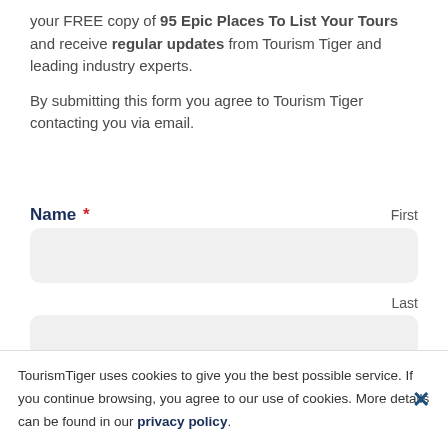your FREE copy of 95 Epic Places To List Your Tours and receive regular updates from Tourism Tiger and leading industry experts.

By submitting this form you agree to Tourism Tiger contacting you via email.
Name * First [input] Last [input]
TourismTiger uses cookies to give you the best possible service. If you continue browsing, you agree to our use of cookies. More details can be found in our privacy policy.